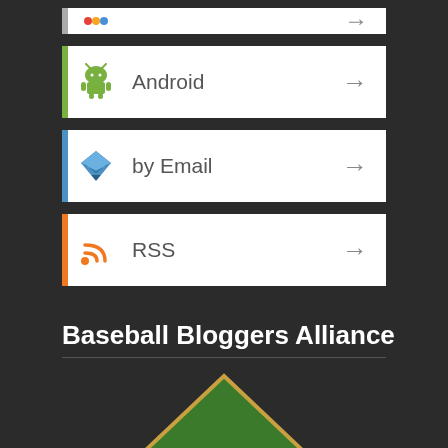Android →
by Email →
RSS →
Baseball Bloggers Alliance
[Figure (logo): Baseball Bloggers Alliance (BBA) diamond-shaped logo with green field, brown banner, white baseball, and 'BBA' text]